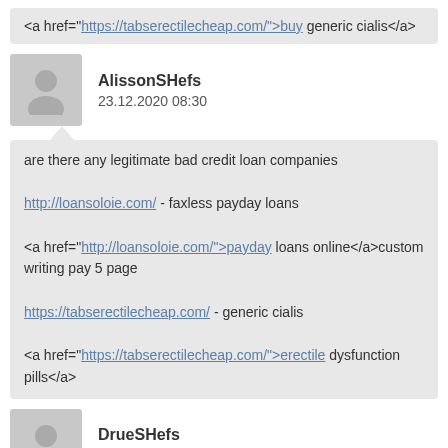<a href="https://tabserectilecheap.com/">buy generic cialis</a>
AlissonSHefs
23.12.2020 08:30
are there any legitimate bad credit loan companies

http://loansoloie.com/ - faxless payday loans

<a href="http://loansoloie.com/">payday loans online</a>custom writing pay 5 page

https://tabserectilecheap.com/ - generic cialis

<a href="https://tabserectilecheap.com/">erectile dysfunction pills</a>
DrueSHefs
23.12.2020 08:41
no purchase necessary viagra